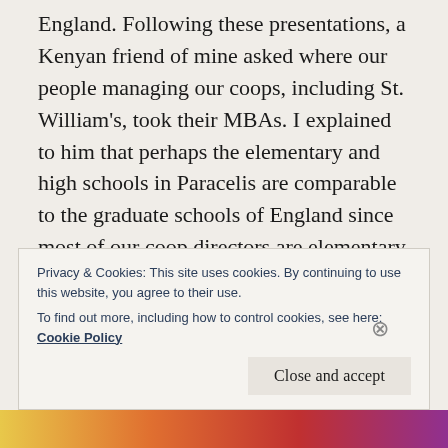England. Following these presentations, a Kenyan friend of mine asked where our people managing our coops, including St. William’s, took their MBAs. I explained to him that perhaps the elementary and high schools in Paracelis are comparable to the graduate schools of England since most of our coop directors are elementary and high school graduates in the municipality. Also, St. Andrew’s Theological Seminary must be comparable to Oxford University since the manager of St. William’s was a SATS graduate. These are the leaders who have transformed P20
Privacy & Cookies: This site uses cookies. By continuing to use this website, you agree to their use.
To find out more, including how to control cookies, see here:
Cookie Policy
Close and accept